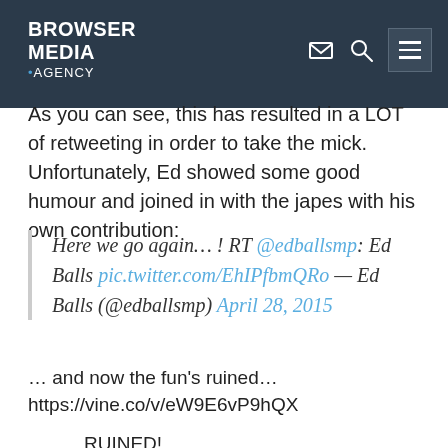BROWSER MEDIA .AGENCY
As you can see, this has resulted in a LOT of retweeting in order to take the mick. Unfortunately, Ed showed some good humour and joined in with the japes with his own contribution:
Here we go again… ! RT @edballsmp: Ed Balls pic.twitter.com/EhIPfbmQRo — Ed Balls (@edballsmp) April 28, 2015
… and now the fun's ruined…
https://vine.co/v/eW9E6vP9hQX
RUINED!